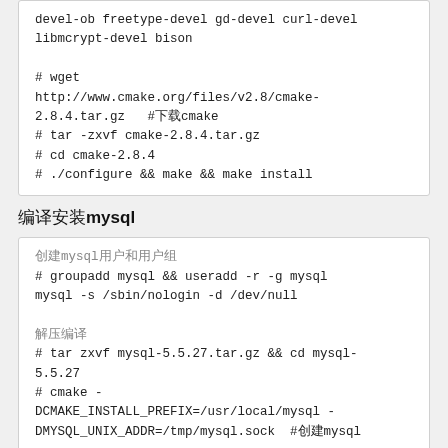devel-ob freetype-devel gd-devel curl-devel libmcrypt-devel bison

# wget http://www.cmake.org/files/v2.8/cmake-2.8.4.tar.gz   #下载cmake
# tar -zxvf cmake-2.8.4.tar.gz
# cd cmake-2.8.4
# ./configure && make && make install
编译安装mysql
创建mysql用户和用户组
# groupadd mysql && useradd -r -g mysql mysql -s /sbin/nologin -d /dev/null

解压编译
# tar zxvf mysql-5.5.27.tar.gz && cd mysql-5.5.27
# cmake -DCMAKE_INSTALL_PREFIX=/usr/local/mysql -DMYSQL_UNIX_ADDR=/tmp/mysql.sock  #创建mysql